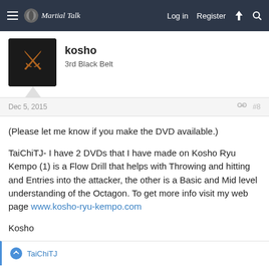Martial Talk — Log in  Register
kosho
3rd Black Belt
Dec 5, 2015	#8
(Please let me know if you make the DVD available.)

TaiChiTJ- I have 2 DVDs that I have made on Kosho Ryu Kempo (1) is a Flow Drill that helps with Throwing and hitting and Entries into the attacker, the other is a Basic and Mid level understanding of the Octagon. To get more info visit my web page www.kosho-ryu-kempo.com

Kosho
TaiChiTJ